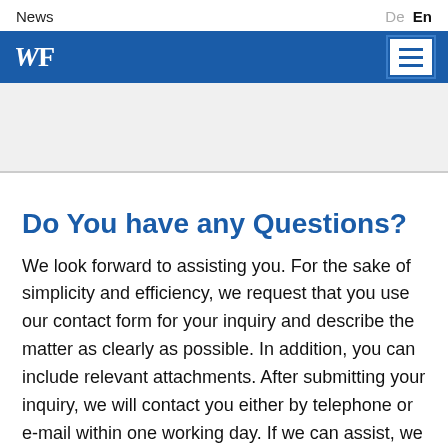News   De  En
[Figure (logo): WF logo in white on blue navigation bar with hamburger menu button]
Do You have any Questions?
We look forward to assisting you. For the sake of simplicity and efficiency, we request that you use our contact form for your inquiry and describe the matter as clearly as possible. In addition, you can include relevant attachments. After submitting your inquiry, we will contact you either by telephone or e-mail within one working day. If we can assist, we will arrange to set a date for an initial consultation. Of